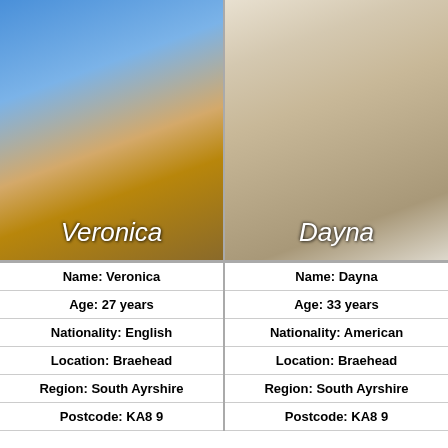[Figure (photo): Photo of Veronica, blonde woman in blue top]
[Figure (photo): Photo of Dayna, woman in pink swimwear]
| Name: Veronica | Name: Dayna |
| Age: 27 years | Age: 33 years |
| Nationality: English | Nationality: American |
| Location: Braehead | Location: Braehead |
| Region: South Ayrshire | Region: South Ayrshire |
| Postcode: KA8 9 | Postcode: KA8 9 |